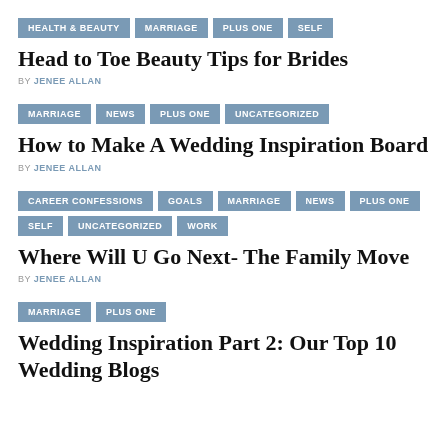HEALTH & BEAUTY | MARRIAGE | PLUS ONE | SELF
Head to Toe Beauty Tips for Brides
BY JENEE ALLAN
MARRIAGE | NEWS | PLUS ONE | UNCATEGORIZED
How to Make A Wedding Inspiration Board
BY JENEE ALLAN
CAREER CONFESSIONS | GOALS | MARRIAGE | NEWS | PLUS ONE | SELF | UNCATEGORIZED | WORK
Where Will U Go Next- The Family Move
BY JENEE ALLAN
MARRIAGE | PLUS ONE
Wedding Inspiration Part 2: Our Top 10 Wedding Blogs